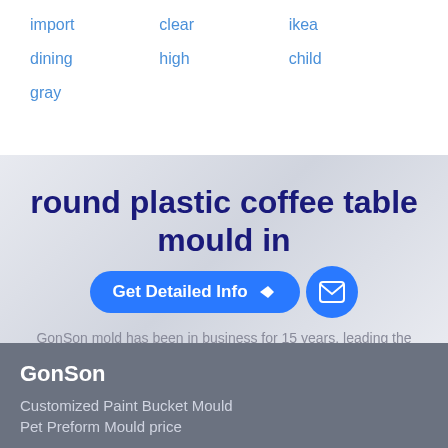import
clear
ikea
dining
high
child
gray
round plastic coffee table mould in
GonSon mold has been in business for 15 years, leading the industry. Welcome to purchase Injection mold & precision mold supplier.
GonSon
Customized Paint Bucket Mould
Pet Preform Mould price